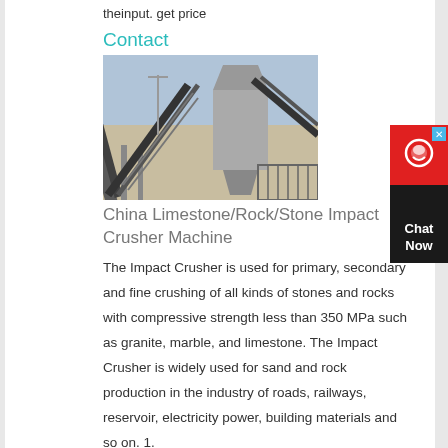theinput. get price
Contact
[Figure (photo): Industrial conveyor belt and stone crushing equipment at an outdoor facility]
China Limestone/Rock/Stone Impact Crusher Machine
The Impact Crusher is used for primary, secondary and fine crushing of all kinds of stones and rocks with compressive strength less than 350 MPa such as granite, marble, and limestone. The Impact Crusher is widely used for sand and rock production in the industry of roads, railways, reservoir, electricity power, building materials and so on. 1.